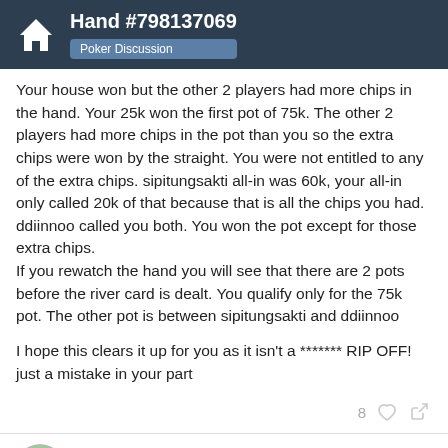Hand #798137069 — Poker Discussion
Your house won but the other 2 players had more chips in the hand. Your 25k won the first pot of 75k. The other 2 players had more chips in the pot than you so the extra chips were won by the straight. You were not entitled to any of the extra chips. sipitungsakti all-in was 60k, your all-in only called 20k of that because that is all the chips you had. ddiinnoo called you both. You won the pot except for those extra chips.
If you rewatch the hand you will see that there are 2 pots before the river card is dealt. You qualify only for the 75k pot. The other pot is between sipitungsakti and ddiinnoo
I hope this clears it up for you as it isn't a ******* RIP OFF! just a mistake in your part
8
feelmysins
1 / 8